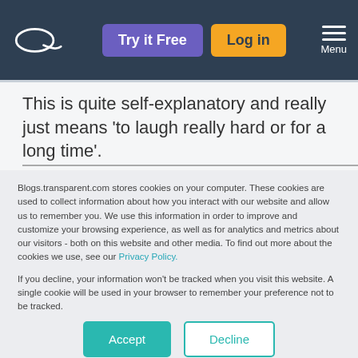Try it Free | Log in | Menu
This is quite self-explanatory and really just means ‘to laugh really hard or for a long time’.
Blogs.transparent.com stores cookies on your computer. These cookies are used to collect information about how you interact with our website and allow us to remember you. We use this information in order to improve and customize your browsing experience, as well as for analytics and metrics about our visitors - both on this website and other media. To find out more about the cookies we use, see our Privacy Policy.

If you decline, your information won’t be tracked when you visit this website. A single cookie will be used in your browser to remember your preference not to be tracked.